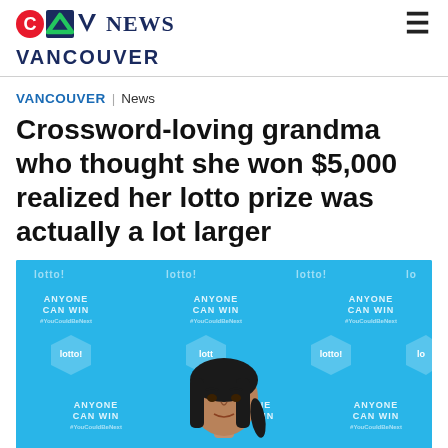CTV NEWS VANCOUVER
VANCOUVER | News
Crossword-loving grandma who thought she won $5,000 realized her lotto prize was actually a lot larger
[Figure (photo): Woman standing in front of a blue lotto backdrop with 'ANYONE CAN WIN' and 'lotto!' speech bubble logos repeated across it]